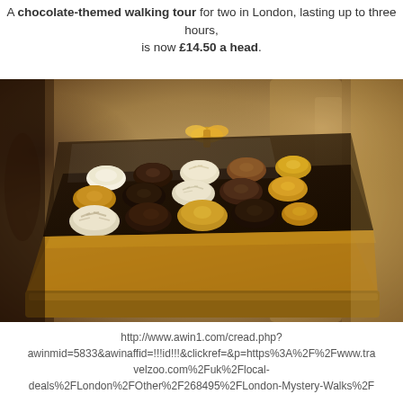A chocolate-themed walking tour for two in London, lasting up to three hours, is now £14.50 a head.
[Figure (photo): An open luxury chocolate box with assorted truffles arranged in rows, displayed on a gold/dark background in a chocolate shop setting.]
http://www.awin1.com/cread.php?awinmid=5833&awinaffid=!!!id!!!&clickref=&p=https%3A%2F%2Fwww.travelzoo.com%2Fuk%2Flocal-deals%2FLondon%2FOther%2F268495%2FLondon-Mystery-Walks%2F